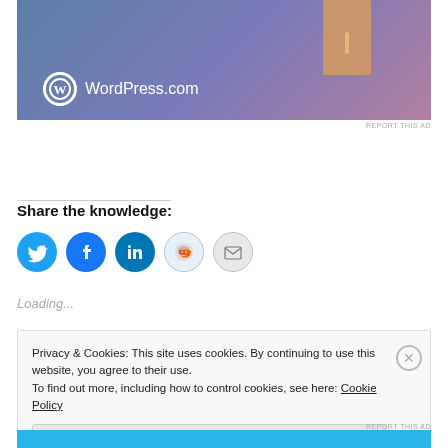[Figure (illustration): WordPress.com advertisement banner showing a gradient blue-purple background with a door graphic and WordPress.com logo in white]
REPORT THIS AD
Share the knowledge:
[Figure (infographic): Row of social sharing icon buttons: Twitter (blue), Facebook (blue), LinkedIn (blue), Reddit (light blue), Email (gray)]
Loading...
Privacy & Cookies: This site uses cookies. By continuing to use this website, you agree to their use.
To find out more, including how to control cookies, see here: Cookie Policy
Close and accept